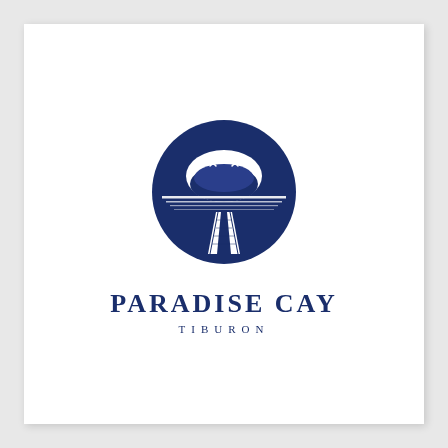[Figure (logo): Paradise Cay Tiburon logo: a circular dark navy blue emblem containing a dock/pier extending toward water, a rising sun or moon arc above the horizon with seagulls, and horizontal water reflection lines. Below the circle, bold uppercase text reads PARADISE CAY with smaller spaced uppercase text TIBURON beneath.]